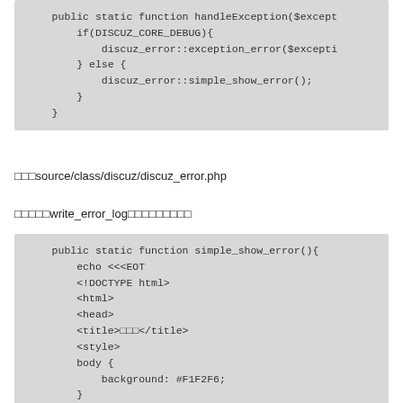public static function handleException($except
    if(DISCUZ_CORE_DEBUG){
        discuz_error::exception_error($excepti
    } else {
        discuz_error::simple_show_error();
    }
}
source/class/discuz/discuz_error.php
write_error_log
public static function simple_show_error(){
    echo <<<EOT
    <!DOCTYPE html>
    <html>
    <head>
    <title></title>
    <style>
    body {
        background: #F1F2F6;
    }